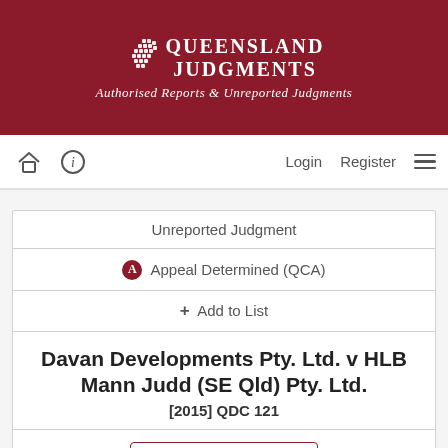[Figure (logo): Queensland Judgments logo with dotted crest icon and tagline 'Authorised Reports & Unreported Judgments']
Login  Register  [hamburger menu]
| Unreported Judgment |
| A  Appeal Determined (QCA) |
| + Add to List |
| Davan Developments Pty. Ltd. v HLB Mann Judd (SE Qld) Pty. Ltd.
[2015] QDC 121 |
| [Enhanced View dropdown button] |
DISTRICT COURT OF QUEENSLAND